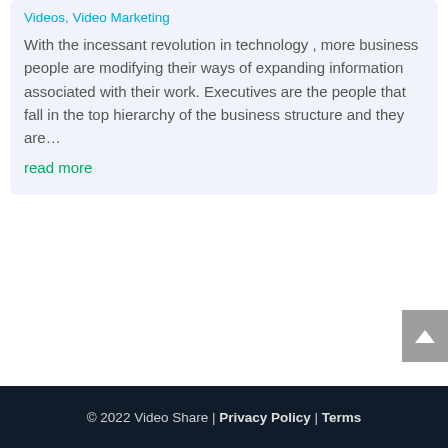Videos, Video Marketing
With the incessant revolution in technology , more business people are modifying their ways of expanding information associated with their work. Executives are the people that fall in the top hierarchy of the business structure and they are…
read more
© 2022 Video Share | Privacy Policy | Terms